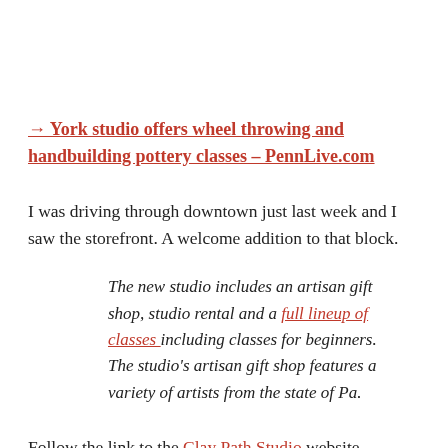→ York studio offers wheel throwing and handbuilding pottery classes – PennLive.com
I was driving through downtown just last week and I saw the storefront. A welcome addition to that block.
The new studio includes an artisan gift shop, studio rental and a full lineup of classes including classes for beginners. The studio's artisan gift shop features a variety of artists from the state of Pa.
Follow the link to the Clay Path Studio website.
Related Posts